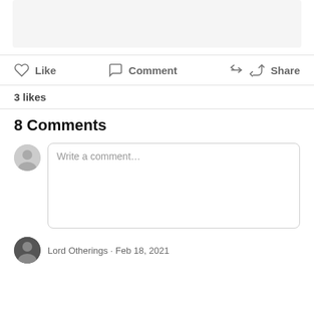[Figure (screenshot): Gray box representing top content area of a social media post]
Like   Comment   Share
3 likes
8 Comments
[Figure (screenshot): Comment input box with placeholder text 'Write a comment...' and user avatar]
Lord Otherings · Feb 18, 2021